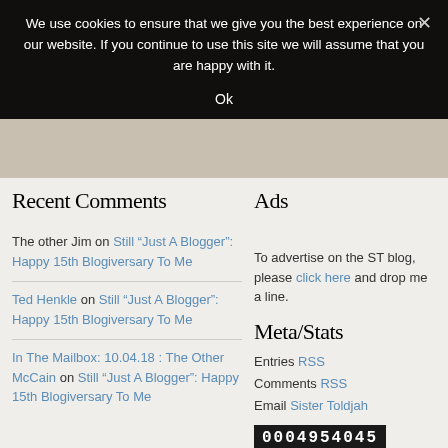We use cookies to ensure that we give you the best experience on our website. If you continue to use this site we will assume that you are happy with it.
Ok
Recent Comments
The other Jim on Still “Just A Blogger”: Happy 15th Blogiversary To Me
Ted Henkle on Still “Just A Blogger”: Happy 15th Blogiversary To Me
In The Mailbox: 10.04.18 : The Other McCain on Still “Just A Blogger”: Happy 15th Blogiversary To Me
Ads
To advertise on the ST blog, please click here and drop me a line.
Meta/Stats
Entries RSS
Comments RSS
Email Sister Toldjah
0004954045